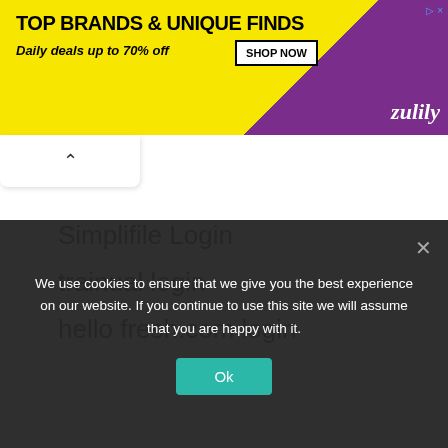[Figure (illustration): Zulily advertisement banner with yellow and purple background showing 'TOP BRANDS & UNIQUE FINDS' headline, 'Daily deals up to 70% off', SHOP NOW button, and Zulily logo]
Simplifile Login
trainual login
hello fresh.com login
We use cookies to ensure that we give you the best experience on our website. If you continue to use this site we will assume that you are happy with it.